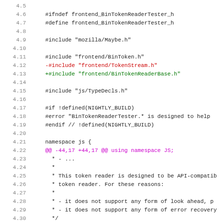[Figure (screenshot): Code diff view showing lines 4.5 through 4.37 of a C++ header file BinTokenReaderTester.h with diff annotations (red deleted lines, green added lines, magenta hunk headers)]